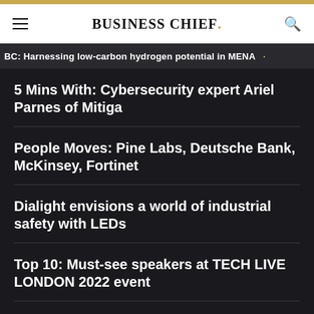BUSINESS CHIEF.
BC: Harnessing low-carbon hydrogen potential in MENA
5 Mins With: Cybersecurity expert Ariel Parnes of Mitiga
People Moves: Pine Labs, Deutsche Bank, McKinsey, Fortinet
Dialight envisions a world of industrial safety with LEDs
Top 10: Must-see speakers at TECH LIVE LONDON 2022 event
Mark from Bank... (partially visible)